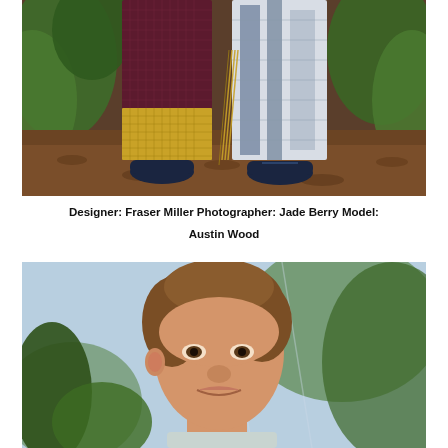[Figure (photo): Close-up photo of two models' lower bodies wearing long patterned garments - one dark red/maroon with gold knit panel, one blue-white tie-dye/shibori print with fringe details. Both wearing dark blue shoes. Standing on wood chip/bark ground with tropical plants in background.]
Designer: Fraser Miller Photographer: Jade Berry Model: Austin Wood
[Figure (photo): Portrait photo of a young male model with short brown hair looking directly at camera with a slight pout. Background is blurred tropical green foliage and light blue sky/glass structure.]